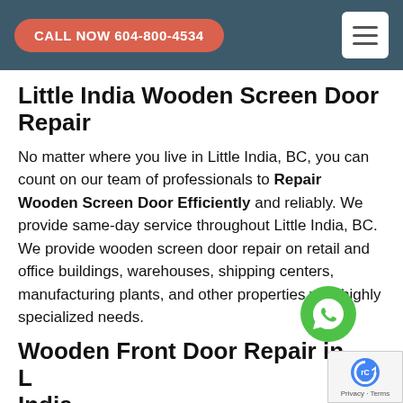CALL NOW 604-800-4534
Little India Wooden Screen Door Repair
No matter where you live in Little India, BC, you can count on our team of professionals to Repair Wooden Screen Door Efficiently and reliably. We provide same-day service throughout Little India, BC. We provide wooden screen door repair on retail and office buildings, warehouses, shipping centers, manufacturing plants, and other properties with highly specialized needs.
Wooden Front Door Repair in Little India